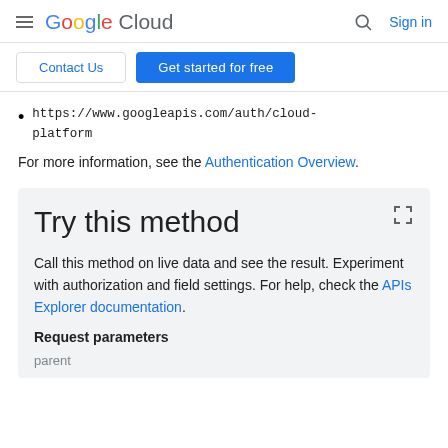Google Cloud  Sign in
Contact Us  Get started for free
https://www.googleapis.com/auth/cloud-platform
For more information, see the Authentication Overview.
Try this method
Call this method on live data and see the result. Experiment with authorization and field settings. For help, check the APIs Explorer documentation.
Request parameters
parent